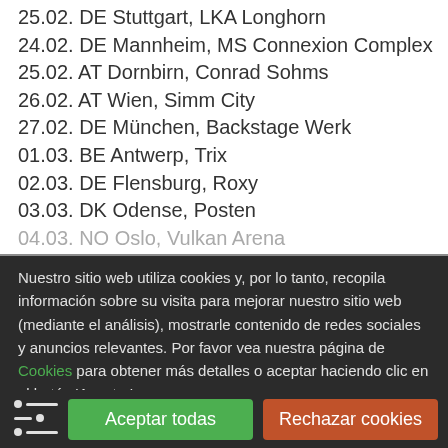25.02. DE Stuttgart, LKA Longhorn
24.02. DE Mannheim, MS Connexion Complex
25.02. AT Dornbirn, Conrad Sohms
26.02. AT Wien, Simm City
27.02. DE München, Backstage Werk
01.03. BE Antwerp, Trix
02.03. DE Flensburg, Roxy
03.03. DK Odense, Posten
04.03. NO Oslo, Vulkan Arena
Nuestro sitio web utiliza cookies y, por lo tanto, recopila información sobre su visita para mejorar nuestro sitio web (mediante el análisis), mostrarle contenido de redes sociales y anuncios relevantes. Por favor vea nuestra página de Cookies para obtener más detalles o aceptar haciendo clic en el botón 'Aceptar'.